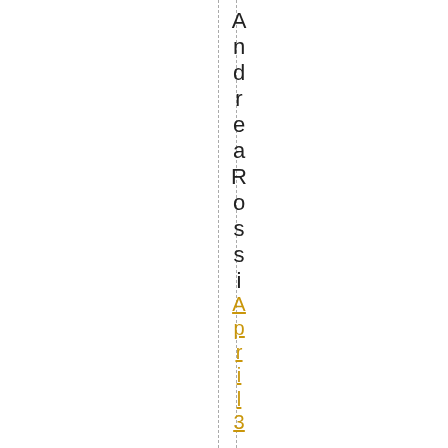AndreaRossi April 3, 2017 at 3:01